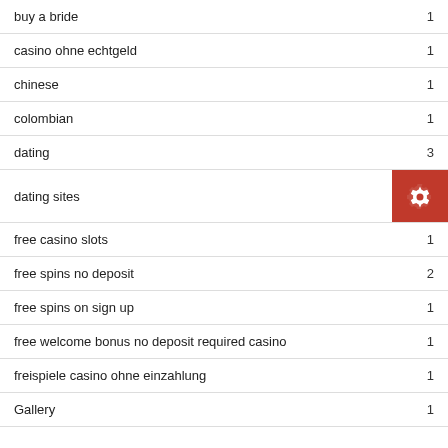|  |  |
| --- | --- |
| buy a bride | 1 |
| casino ohne echtgeld | 1 |
| chinese | 1 |
| colombian | 1 |
| dating | 3 |
| dating sites |  |
| free casino slots | 1 |
| free spins no deposit | 2 |
| free spins on sign up | 1 |
| free welcome bonus no deposit required casino | 1 |
| freispiele casino ohne einzahlung | 1 |
| Gallery | 1 |